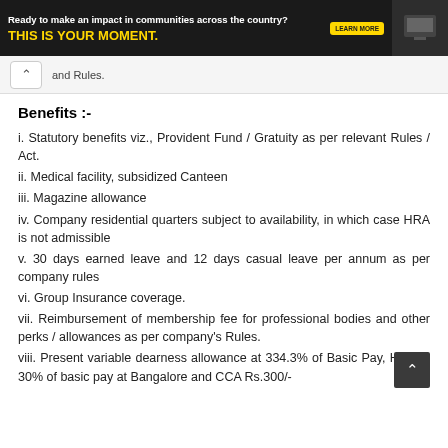[Figure (screenshot): Advertisement banner: 'Ready to make an impact in communities across the country? THIS IS YOUR MOMENT.' with LEARN MORE button on dark background]
and Rules.
Benefits :-
i. Statutory benefits viz., Provident Fund / Gratuity as per relevant Rules / Act.
ii. Medical facility, subsidized Canteen
iii. Magazine allowance
iv. Company residential quarters subject to availability, in which case HRA is not admissible
v. 30 days earned leave and 12 days casual leave per annum as per company rules
vi. Group Insurance coverage.
vii. Reimbursement of membership fee for professional bodies and other perks / allowances as per company's Rules.
viii. Present variable dearness allowance at 334.3% of Basic Pay, HRA at 30% of basic pay at Bangalore and CCA Rs.300/-